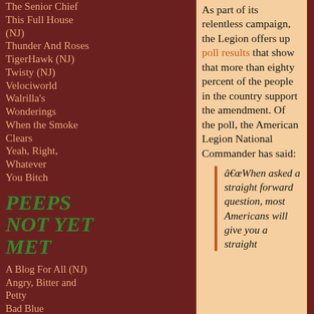The Senior Chief
This Full House (NJ)
Thunder And Roses
TigerHawk (NJ)
Twisty (NJ)
Velociworld
Walrilla's Wonderings
When the Smoke Clears
Yeah, Right, Whatever
You Bitch
PEEPS NOT YET MET
A Blog For All (NJ)
Angry, Bitter and Petty
Bad Blue
Bergheim Follies
Big Geek Daddy
Bogieblog
Braden's Corner Of
As part of its relentless campaign, the Legion offers up poll results that show that more than eighty percent of the people in the country support the amendment. Of the poll, the American Legion National Commander has said:
“When asked a straight forward question, most Americans will give you a straight